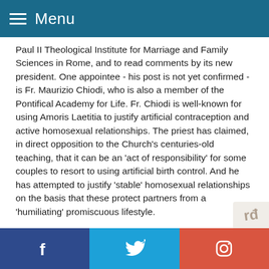Menu
Paul II Theological Institute for Marriage and Family Sciences in Rome, and to read comments by its new president. One appointee - his post is not yet confirmed - is Fr. Maurizio Chiodi, who is also a member of the Pontifical Academy for Life. Fr. Chiodi is well-known for using Amoris Laetitia to justify artificial contraception and active homosexual relationships. The priest has claimed, in direct opposition to the Church's centuries-old teaching, that it can be an 'act of responsibility' for some couples to resort to using artificial birth control. And he has attempted to justify 'stable' homosexual relationships on the basis that these protect partners from a 'humiliating' promiscuous lifestyle.
The new president of the Institute, theologian Msgr. Pierangelo Sequeri, was reported in La Croix as wanting to allay fears that the integrity of Catholic doctrine could be compromised under the
Facebook | Twitter | Instagram